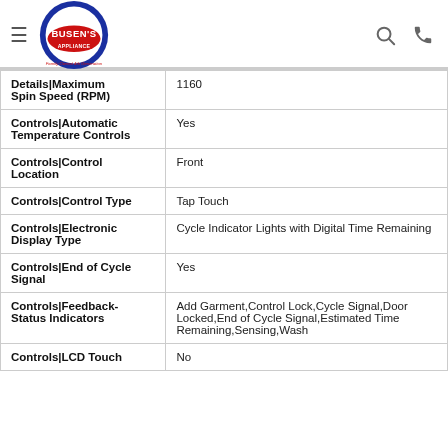Busen's Appliance — Family Owned 4th Generation
| Attribute | Value |
| --- | --- |
| Details|Maximum Spin Speed (RPM) | 1160 |
| Controls|Automatic Temperature Controls | Yes |
| Controls|Control Location | Front |
| Controls|Control Type | Tap Touch |
| Controls|Electronic Display Type | Cycle Indicator Lights with Digital Time Remaining |
| Controls|End of Cycle Signal | Yes |
| Controls|Feedback-Status Indicators | Add Garment,Control Lock,Cycle Signal,Door Locked,End of Cycle Signal,Estimated Time Remaining,Sensing,Wash |
| Controls|LCD Touch | No |